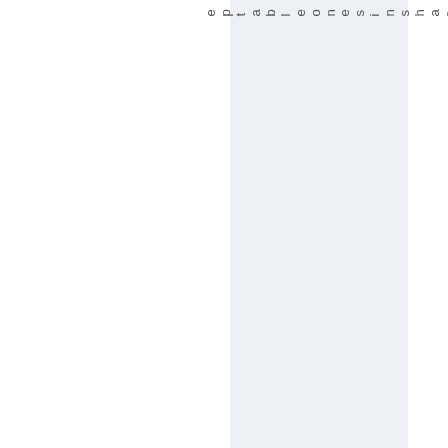eptable ones in sharks. Barcelonah